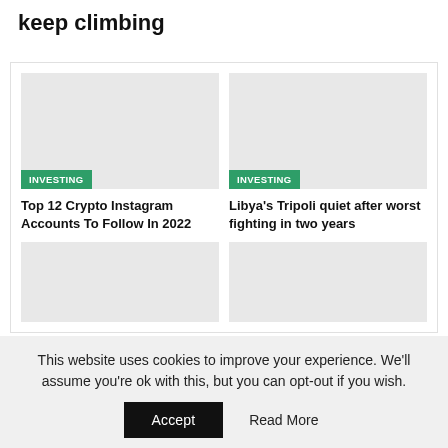keep climbing
[Figure (other): Gray placeholder image with INVESTING badge]
Top 12 Crypto Instagram Accounts To Follow In 2022
[Figure (other): Gray placeholder image with INVESTING badge]
Libya's Tripoli quiet after worst fighting in two years
[Figure (other): Gray placeholder image (bottom left)]
[Figure (other): Gray placeholder image (bottom right)]
This website uses cookies to improve your experience. We'll assume you're ok with this, but you can opt-out if you wish.